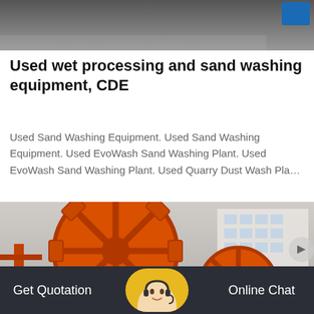[Figure (photo): Top portion of an industrial machine or equipment, partially cropped, with a blue rectangular element visible in the top right corner. Grey and dark background.]
Used wet processing and sand washing equipment, CDE
Used Sand Washing Equipment. Used Sand Washing Equipment. Used EvoWash Sand Washing Plant. Used EvoWash Sand Washing Plant. Used Quarry Dust Wash Pla…
[Figure (photo): Large orange industrial sand washing wheel/bucket wheel machine photographed outdoors with a white building visible in the background.]
Get Quotation   Online Chat